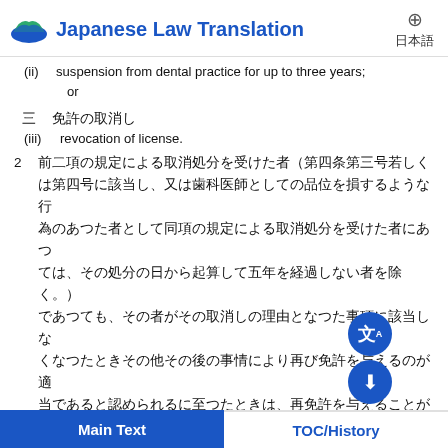Japanese Law Translation  日本語
(ii)  suspension from dental practice for up to three years; or
三　免許の取消し
(iii)  revocation of license.
2　前二項の規定による取消処分を受けた者（第四条第三号若しくは第四号に該当し、又は歯科医師としての品位を損するような行為のあつた者として同項の規定による取消処分を受けた者にあつては、その処分の日から起算して五年を経過しない者を除く。）であつても、その者がその取消しの理由となつた事項に該当しなくなつたときその他その後の事情により再び免許を与えるのが適当であると認められるに至つたときは、再免許を与えることができる。この場合においては、第六条第一項及び第二項の規定を準用する。
(2)    A person who has been rendered a disposition of revocation pursuant to the provisions of the preceding paragraphs (excluding persons who have been rendered a disposition of revocation pursuant to the provisions of the same paragraph as a person who falls under Article 4, item